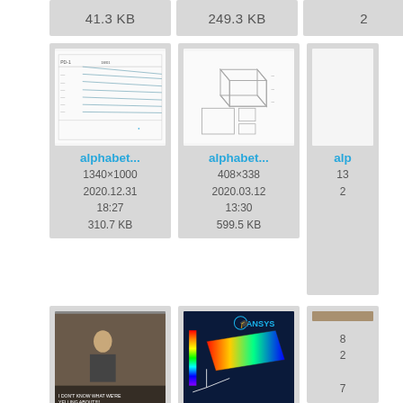41.3 KB
249.3 KB
[Figure (screenshot): Engineering drawing / schematic document thumbnail]
alphabet...
1340×1000
2020.12.31
18:27
310.7 KB
[Figure (engineering-diagram): 3D isometric engineering diagram with orthographic views]
alphabet...
408×338
2020.03.12
13:30
599.5 KB
[Figure (screenshot): Movie/TV screenshot with caption text]
anchorm...
500×250
2020.03.12
13:30
500.1 KB
[Figure (engineering-diagram): ANSYS FEA simulation result showing stress/heat map on a flat plate]
ansys.png
580×467
2020.03.12
13:30
35.2 KB